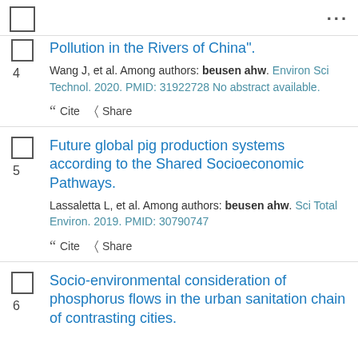4. Pollution in the Rivers of China". Wang J, et al. Among authors: beusen ahw. Environ Sci Technol. 2020. PMID: 31922728 No abstract available.
5. Future global pig production systems according to the Shared Socioeconomic Pathways. Lassaletta L, et al. Among authors: beusen ahw. Sci Total Environ. 2019. PMID: 30790747
6. Socio-environmental consideration of phosphorus flows in the urban sanitation chain of contrasting cities.